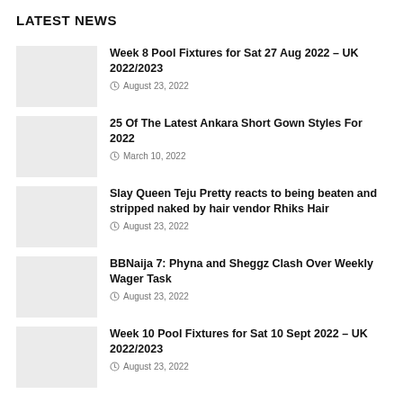LATEST NEWS
Week 8 Pool Fixtures for Sat 27 Aug 2022 – UK 2022/2023 | August 23, 2022
25 Of The Latest Ankara Short Gown Styles For 2022 | March 10, 2022
Slay Queen Teju Pretty reacts to being beaten and stripped naked by hair vendor Rhiks Hair | August 23, 2022
BBNaija 7: Phyna and Sheggz Clash Over Weekly Wager Task | August 23, 2022
Week 10 Pool Fixtures for Sat 10 Sept 2022 – UK 2022/2023 | August 23, 2022